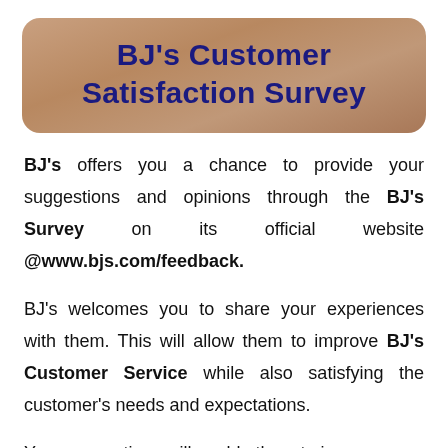BJ's Customer Satisfaction Survey
BJ's offers you a chance to provide your suggestions and opinions through the BJ's Survey on its official website @www.bjs.com/feedback.
BJ's welcomes you to share your experiences with them. This will allow them to improve BJ's Customer Service while also satisfying the customer's needs and expectations.
Your suggestions will enable them to improve